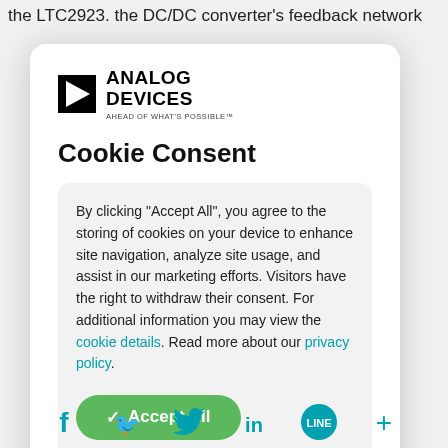the LTC2923. the DC/DC converter's feedback network
[Figure (logo): Analog Devices logo with triangle symbol and tagline AHEAD OF WHAT'S POSSIBLE]
Cookie Consent
By clicking “Accept All”, you agree to the storing of cookies on your device to enhance site navigation, analyze site usage, and assist in our marketing efforts. Visitors have the right to withdraw their consent. For additional information you may view the cookie details. Read more about our privacy policy.
Accept All
[Figure (infographic): Social media icons row: Facebook, Twitter, LinkedIn, LINE, plus sign, all in teal color]